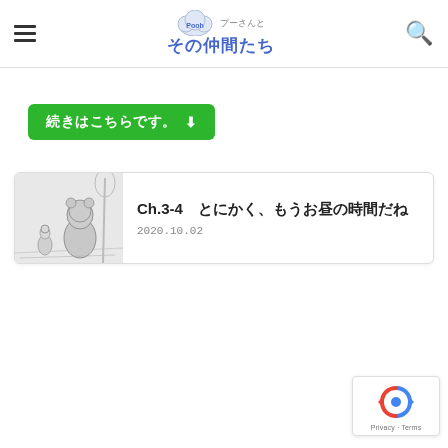プーさんとその仲間たち
続きはこちらです。 ▼
[Figure (illustration): Sketch illustration of Winnie the Pooh and Piglet walking together in a forest setting, black and white pencil drawing.]
Ch.3-4　とにかく、もうお昼の時間だね
2020.10.02
[Figure (logo): Google reCAPTCHA badge with blue and red recycling-style logo, showing Privacy · Terms text.]